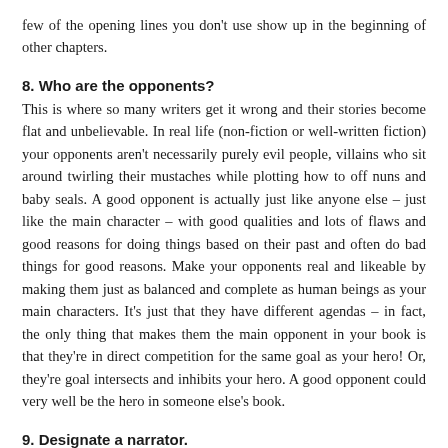few of the opening lines you don't use show up in the beginning of other chapters.
8. Who are the opponents?
This is where so many writers get it wrong and their stories become flat and unbelievable. In real life (non-fiction or well-written fiction) your opponents aren't necessarily purely evil people, villains who sit around twirling their mustaches while plotting how to off nuns and baby seals. A good opponent is actually just like anyone else – just like the main character – with good qualities and lots of flaws and good reasons for doing things based on their past and often do bad things for good reasons. Make your opponents real and likeable by making them just as balanced and complete as human beings as your main characters. It's just that they have different agendas – in fact, the only thing that makes them the main opponent in your book is that they're in direct competition for the same goal as your hero! Or, they're goal intersects and inhibits your hero. A good opponent could very well be the hero in someone else's book.
9. Designate a narrator.